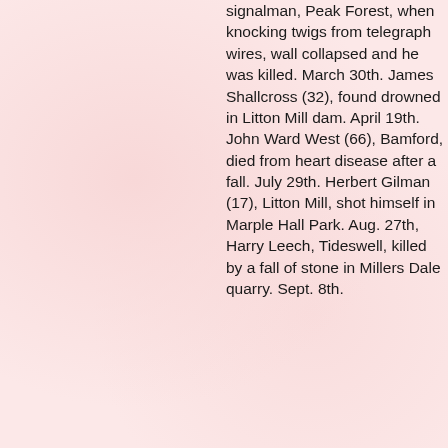signalman, Peak Forest, when knocking twigs from telegraph wires, wall collapsed and he was killed. March 30th. James Shallcross (32), found drowned in Litton Mill dam. April 19th. John Ward West (66), Bamford, died from heart disease after a fall. July 29th. Herbert Gilman (17), Litton Mill, shot himself in Marple Hall Park. Aug. 27th, Harry Leech, Tideswell, killed by a fall of stone in Millers Dale quarry. Sept. 8th.